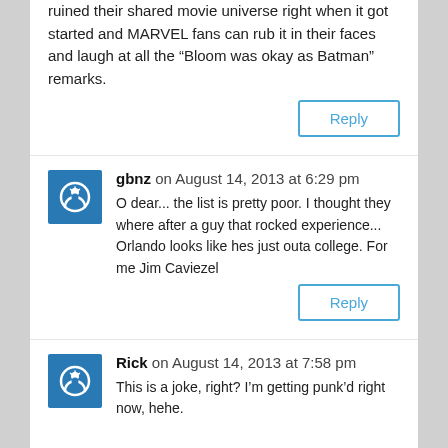ruined their shared movie universe right when it got started and MARVEL fans can rub it in their faces and laugh at all the “Bloom was okay as Batman” remarks.
Reply
gbnz on August 14, 2013 at 6:29 pm
O dear... the list is pretty poor. I thought they where after a guy that rocked experience... Orlando looks like hes just outa college. For me Jim Caviezel
Reply
Rick on August 14, 2013 at 7:58 pm
This is a joke, right? I’m getting punk’d right now, hehe.